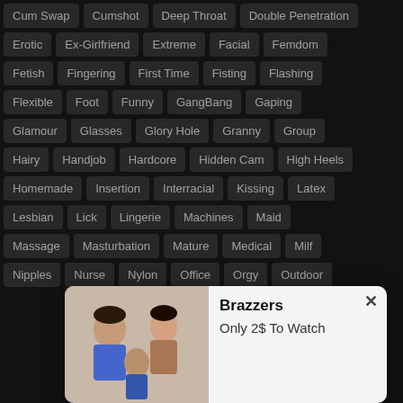Cum Swap
Cumshot
Deep Throat
Double Penetration
Erotic
Ex-Girlfriend
Extreme
Facial
Femdom
Fetish
Fingering
First Time
Fisting
Flashing
Flexible
Foot
Funny
GangBang
Gaping
Glamour
Glasses
Glory Hole
Granny
Group
Hairy
Handjob
Hardcore
Hidden Cam
High Heels
Homemade
Insertion
Interracial
Kissing
Latex
Lesbian
Lick
Lingerie
Machines
Maid
Massage
Masturbation
Mature
Medical
Milf
Nipples
Nurse
Nylon
Office
Orgy
Outdoor
Reality
Redhead
Rimming
Romantic
Russian
Schoolgirl
Secretary
Shaved
Shemale
Skinny
[Figure (screenshot): A popup notification card from Brazzers with a thumbnail image, bold title 'Brazzers', subtitle 'Only 2$ To Watch', and a close button X.]